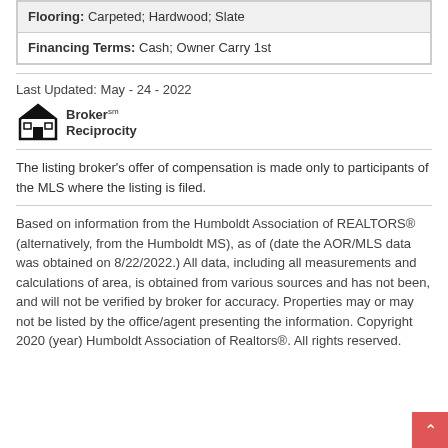| Flooring: Carpeted; Hardwood; Slate |
| Financing Terms: Cash; Owner Carry 1st |
Last Updated: May - 24 - 2022
[Figure (logo): Broker Reciprocity logo with house icon]
The listing broker's offer of compensation is made only to participants of the MLS where the listing is filed.
Based on information from the Humboldt Association of REALTORS® (alternatively, from the Humboldt MS), as of (date the AOR/MLS data was obtained on 8/22/2022.) All data, including all measurements and calculations of area, is obtained from various sources and has not been, and will not be verified by broker for accuracy. Properties may or may not be listed by the office/agent presenting the information. Copyright 2020 (year) Humboldt Association of Realtors®. All rights reserved.